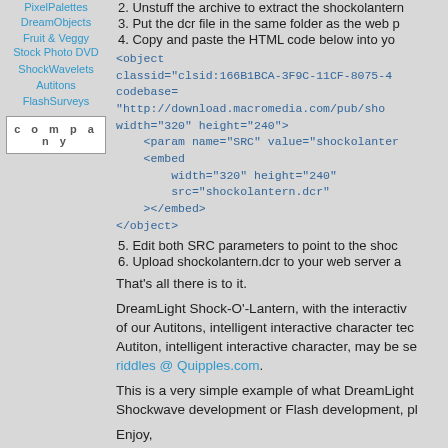PixelPalettes
DreamObjects
Fruit & Veggy Stock Photo DVD
ShockWavelets
Autitons
FlashSurveys
c o m p a n y
2. Unstuff the archive to extract the shockolantern...
3. Put the dcr file in the same folder as the web p...
4. Copy and paste the HTML code below into yo...
<object classid="clsid:166B1BCA-3F9C-11CF-8075-4..." codebase= "http://download.macromedia.com/pub/sho... width="320" height="240">     <param name="SRC" value="shockolanter...     <embed         width="320" height="240"         src="shockolantern.dcr"     ></embed> </object>
5. Edit both SRC parameters to point to the sho...
6. Upload shockolantern.dcr to your web server a...
That’s all there is to it.
DreamLight Shock-O'-Lantern, with the interactiv... of our Autitons, intelligent interactive character tec... Autiton, intelligent interactive character, may be se... riddles @ Quipples.com.
This is a very simple example of what DreamLight... Shockwave development or Flash development, pl...
Enjoy,